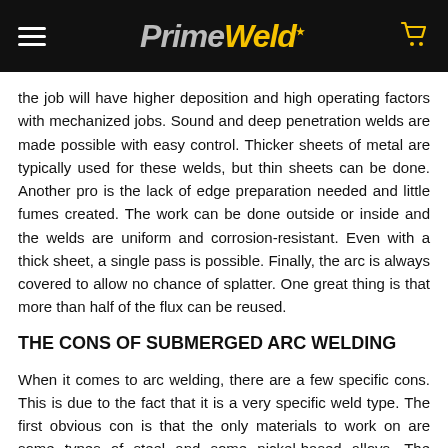PrimeWeld
the job will have higher deposition and high operating factors with mechanized jobs. Sound and deep penetration welds are made possible with easy control. Thicker sheets of metal are typically used for these welds, but thin sheets can be done. Another pro is the lack of edge preparation needed and little fumes created. The work can be done outside or inside and the welds are uniform and corrosion-resistant. Even with a thick sheet, a single pass is possible. Finally, the arc is always covered to allow no chance of splatter. One great thing is that more than half of the flux can be reused.
THE CONS OF SUBMERGED ARC WELDING
When it comes to arc welding, there are a few specific cons. This is due to the fact that it is a very specific weld type. The first obvious con is that the only materials to work on are some types of steel and some nickel-based alloys. The equipment can only be in the position of 1F, 1G, and 2F. It is also limited to rotating pipes, vessels or straight seams for welds. The flux can be a bit troublesome to set up and can cause health concerns. A huge con is a fact that only thick